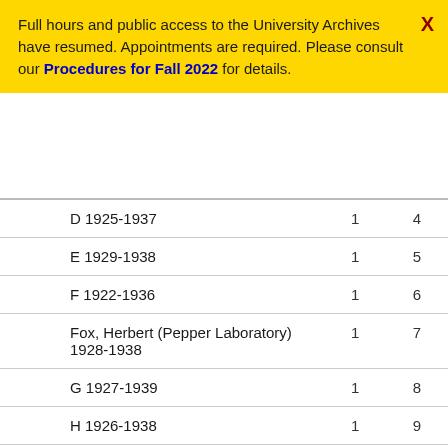Full hours and public access to the University Archives have resumed. Appointments are required. Please consult our Procedures for Fall 2022 for details.
|  | Box | Folder |
| --- | --- | --- |
| D 1925-1937 | 1 | 4 |
| E 1929-1938 | 1 | 5 |
| F 1922-1936 | 1 | 6 |
| Fox, Herbert (Pepper Laboratory) 1928-1938 | 1 | 7 |
| G 1927-1939 | 1 | 8 |
| H 1926-1938 | 1 | 9 |
| I 1927, 1930 | 1 | 10 |
| J 1927-1939 | 1 | 11 |
| K 1927-1937 | 1 | 12 |